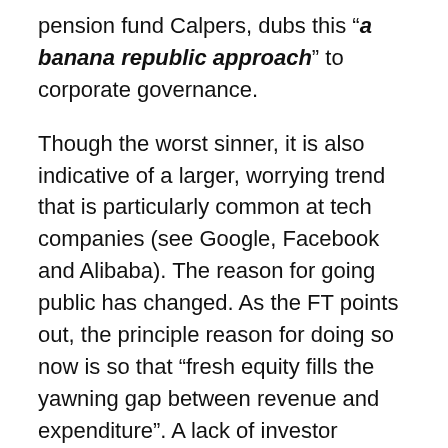pension fund Calpers, dubs this “a banana republic approach” to corporate governance.
Though the worst sinner, it is also indicative of a larger, worrying trend that is particularly common at tech companies (see Google, Facebook and Alibaba). The reason for going public has changed. As the FT points out, the principle reason for doing so now is so that “fresh equity fills the yawning gap between revenue and expenditure”. A lack of investor oversight means that accountability is less prevalent than ever.
On the bright side, some companies are looking beyond simply maximising shareholder returns to see how they can benefit society. Last year, Boston Consulting Group wrote an unusually whimsical thought piece on the impact businesses could have if they imbued themselves with